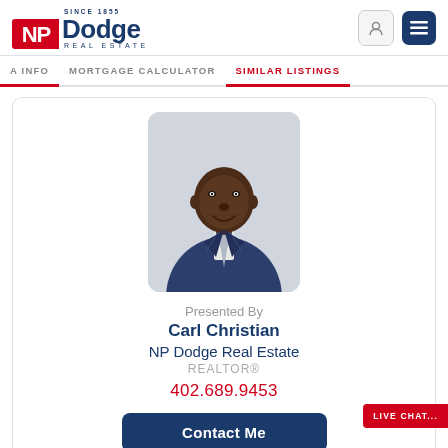[Figure (logo): NP Dodge Real Estate logo with red NP box and blue Dodge text, SINCE 1855 tagline]
A INFO   MORTGAGE CALCULATOR   SIMILAR LISTINGS
[Figure (photo): Headshot of Carl Christian, a man in a dark pinstripe suit with a light tie, smiling]
Presented By
Carl Christian
NP Dodge Real Estate
REALTOR®
402.689.9453
Contact Me